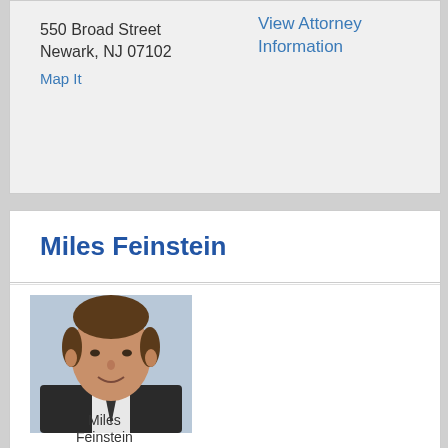550 Broad Street
Newark, NJ 07102
Map It
View Attorney Information
Miles Feinstein
[Figure (photo): Headshot portrait photo of Miles Feinstein, a middle-aged man in a dark suit with a tie, smiling.]
Miles Feinstein